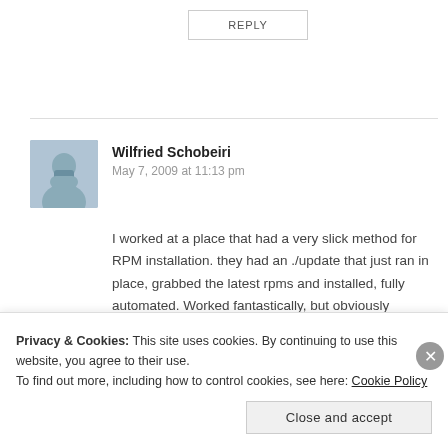REPLY
Wilfried Schobeiri
May 7, 2009 at 11:13 pm
I worked at a place that had a very slick method for RPM installation. they had an ./update that just ran in place, grabbed the latest rpms and installed, fully automated. Worked fantastically, but obviously depending on your release timelines, build patterns, and source type this is likely not for most people.
Like
Privacy & Cookies: This site uses cookies. By continuing to use this website, you agree to their use.
To find out more, including how to control cookies, see here: Cookie Policy
Close and accept